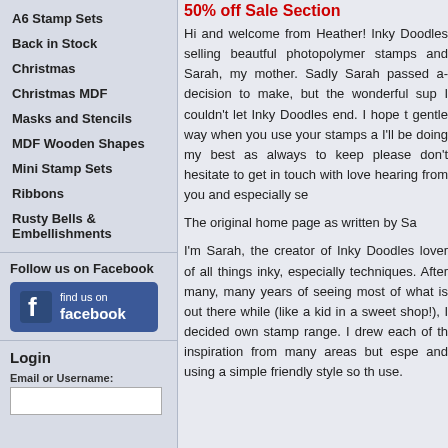50% off Sale Section
Hi and welcome from Heather! Inky Doodles selling beautful photopolymer stamps and Sarah, my mother. Sadly Sarah passed a decision to make, but the wonderful sup I couldn't let Inky Doodles end. I hope t gentle way when you use your stamps a I'll be doing my best as always to keep please don't hesitate to get in touch with love hearing from you and especially se
The original home page as written by Sa
I'm Sarah, the creator of Inky Doodles lover of all things inky, especially techniques. After many, many years of seeing most of what is out there while (like a kid in a sweet shop!), I decided own stamp range. I drew each of th inspiration from many areas but espe and using a simple friendly style so th use.
A6 Stamp Sets
Back in Stock
Christmas
Christmas MDF
Masks and Stencils
MDF Wooden Shapes
Mini Stamp Sets
Ribbons
Rusty Bells & Embellishments
Follow us on Facebook
[Figure (logo): Facebook 'find us on facebook' button with Facebook logo icon]
Login
Email or Username: